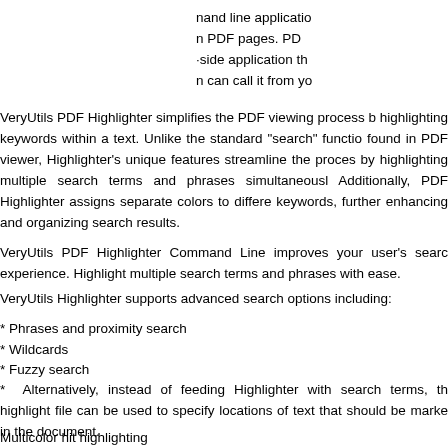nand line application PDF pages. PD -side application th n can call it from yo
VeryUtils PDF Highlighter simplifies the PDF viewing process by highlighting keywords within a text. Unlike the standard "search" function found in PDF viewer, Highlighter's unique features streamline the process by highlighting multiple search terms and phrases simultaneously. Additionally, PDF Highlighter assigns separate colors to different keywords, further enhancing and organizing search results.
VeryUtils PDF Highlighter Command Line improves your user's search experience. Highlight multiple search terms and phrases with ease.
VeryUtils Highlighter supports advanced search options including:
* Phrases and proximity search
* Wildcards
* Fuzzy search
* Alternatively, instead of feeding Highlighter with search terms, the highlight file can be used to specify locations of text that should be marked in the document.
Multicolor hit highlighting
VeryUtils PDF Highlighter ensures that same terms are assigned the same color. The highlighter automatically assigns colors to different term